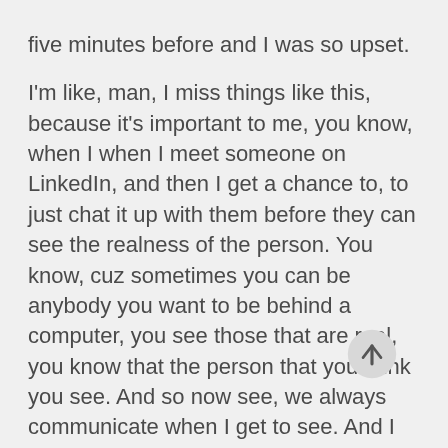five minutes before and I was so upset.

I'm like, man, I miss things like this, because it's important to me, you know, when I when I meet someone on LinkedIn, and then I get a chance to, to just chat it up with them before they can see the realness of the person. You know, cuz sometimes you can be anybody you want to be behind a computer, you see those that are real, you know that the person that you think you see. And so now see, we always communicate when I get to see. And I know, man, because this is where technology is taking us. But we have to do a lot of these right now. To the end is over. We
[Figure (other): Circular scroll-to-top button with an upward arrow icon]